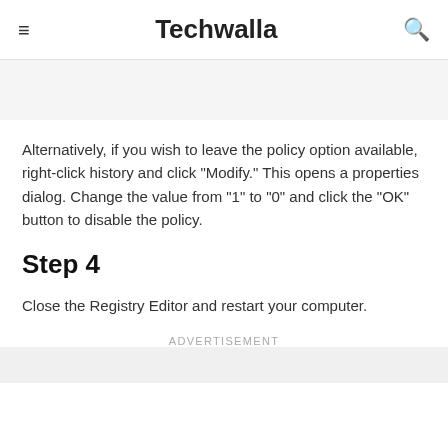≡  Techwalla  🔍
Alternatively, if you wish to leave the policy option available, right-click history and click "Modify." This opens a properties dialog. Change the value from "1" to "0" and click the "OK" button to disable the policy.
Step 4
Close the Registry Editor and restart your computer.
Advertisement